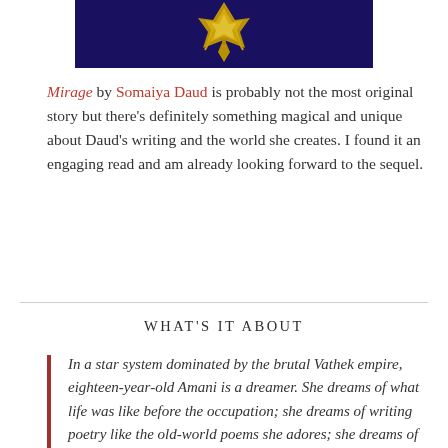[Figure (photo): Book cover image of Mirage showing a golden emblem on dark navy/purple background]
Mirage by Somaiya Daud is probably not the most original story but there's definitely something magical and unique about Daud's writing and the world she creates. I found it an engaging read and am already looking forward to the sequel.
WHAT'S IT ABOUT
In a star system dominated by the brutal Vathek empire, eighteen-year-old Amani is a dreamer. She dreams of what life was like before the occupation; she dreams of writing poetry like the old-world poems she adores; she dreams of receiving a sign from Riku...